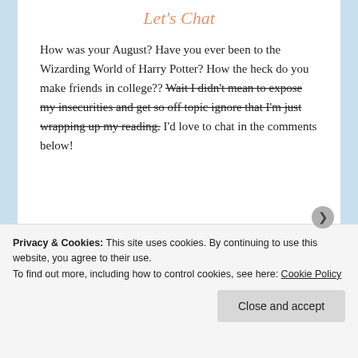Let's Chat
How was your August? Have you ever been to the Wizarding World of Harry Potter? How the heck do you make friends in college?? Wait I didn't mean to expose my insecurities and get so off topic ignore that I'm just wrapping up my reading. I'd love to chat in the comments below!
[Figure (illustration): Decorative floral/flower illustration in peach and yellow tones with a cursive signature 'bea bea' overlaid]
Privacy & Cookies: This site uses cookies. By continuing to use this website, you agree to their use.
To find out more, including how to control cookies, see here: Cookie Policy
Close and accept